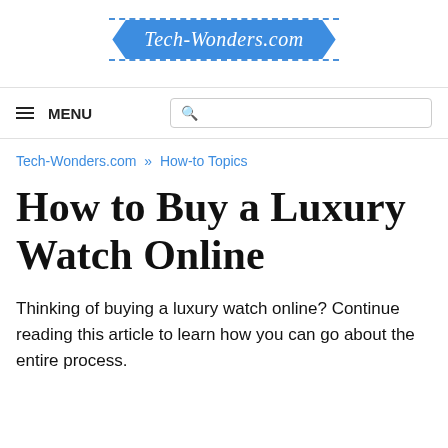[Figure (logo): Tech-Wonders.com logo banner in blue ribbon/chevron shape with dashed border lines above and below]
≡ MENU  [search box]
Tech-Wonders.com » How-to Topics
How to Buy a Luxury Watch Online
Thinking of buying a luxury watch online? Continue reading this article to learn how you can go about the entire process.